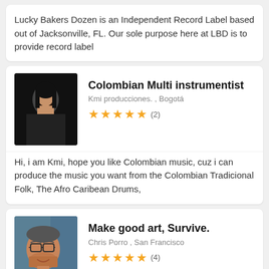Lucky Bakers Dozen is an Independent Record Label based out of Jacksonville, FL. Our sole purpose here at LBD is to provide record label
Colombian Multi instrumentist
Kmi producciones.  , Bogotá
★★★★★ (2)
Hi, i am Kmi, hope you like Colombian music, cuz i can produce the music you want from the Colombian Tradicional Folk, The Afro Caribean Drums,
Make good art, Survive.
Chris Porro  , San Francisco
★★★★★ (4)
Mixed and co-produced "Amour Bohemian" by Merch. An immense project featuring contributions from 65 different artists, including the 30-piece